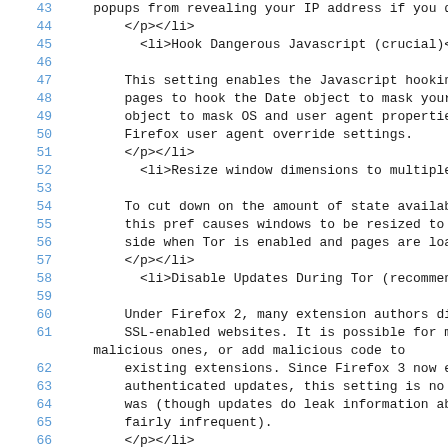Code listing showing lines 43-70 of a document about Tor browser privacy settings
43: popups from revealing your IP address if you di...
44:     </p></li>
45:       <li>Hook Dangerous Javascript (crucial)<p>
46: (blank)
47: This setting enables the Javascript hooking code.
48: pages to hook the Date object to mask your timezo...
49: object to mask OS and user agent properties not h...
50: Firefox user agent override settings.
51:     </p></li>
52:       <li>Resize window dimensions to multiples of 50...
53: (blank)
54: To cut down on the amount of state available to f...
55: this pref causes windows to be resized to a multi...
56: side when Tor is enabled and pages are loaded.
57:     </p></li>
58:       <li>Disable Updates During Tor (recommended)<p>
59: (blank)
60: Under Firefox 2, many extension authors did not u...
61: SSL-enabled websites. It is possible for malicious... malicious ones, or add malicious code to
62:     existing extensions. Since Firefox 3 now enforces...
63:     authenticated updates, this setting is no longer ...
64:     was (though updates do leak information about whi...
65:     fairly infrequent).
66:     </p></li>
67:       <li>Disable Search Suggestions during Tor (opti...
68: (blank)
69: This optional setting governs if you get Google s...
70: usage. Since no cookie is transmitted during sear...